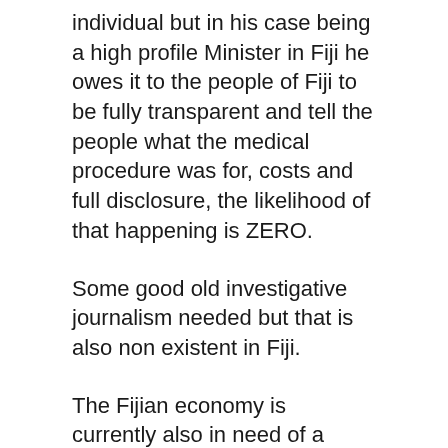individual but in his case being a high profile Minister in Fiji he owes it to the people of Fiji to be fully transparent and tell the people what the medical procedure was for, costs and full disclosure, the likelihood of that happening is ZERO.
Some good old investigative journalism needed but that is also non existent in Fiji.
The Fijian economy is currently also in need of a huge overhaul like the much needed bypass by the AG, what a coincidence I guess.
Anyways wish him , the AG a speedy and full recovery and may the bypass provide him with new